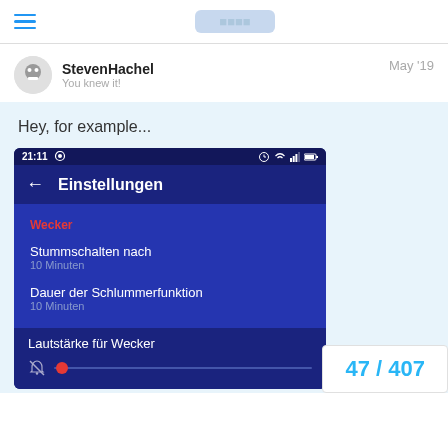StevenHachel – May '19
Hey, for example...
[Figure (screenshot): Android phone screenshot showing the Einstellungen (Settings) screen of an alarm app. Status bar shows 21:11. Settings screen has blue background with sections: Wecker (red label), Stummschalten nach / 10 Minuten, Dauer der Schlummerfunktion / 10 Minuten, and Lautstärke für Wecker with a slider.]
47 / 407